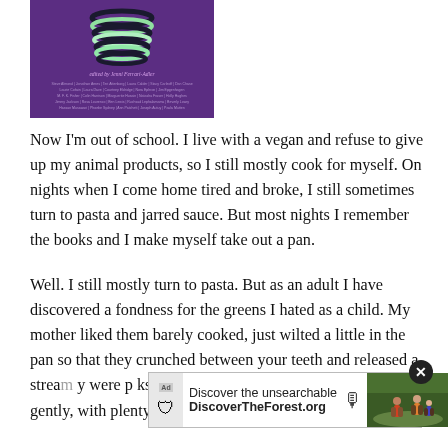[Figure (photo): Book cover with purple background, spiral/stacked rings at top, 'edited by Jenni Ferrari-Adler' in italic text, and a list of author names below]
Now I'm out of school. I live with a vegan and refuse to give up my animal products, so I still mostly cook for myself. On nights when I come home tired and broke, I still sometimes turn to pasta and jarred sauce. But most nights I remember the books and I make myself take out a pan.
Well. I still mostly turn to pasta. But as an adult I have discovered a fondness for the greens I hated as a child. My mother liked them barely cooked, just wilted a little in the pan so that they crunched between your teeth and released a strea[m...] y were p[...] ks taught me to cook them slowly and gently, with plenty of
[Figure (screenshot): Advertisement overlay: 'Discover the unsearchable / DiscoverTheForest.org' with Ad tag, shield icon, microphone icon, and forest photo with people walking. Close button (X) in top right.]